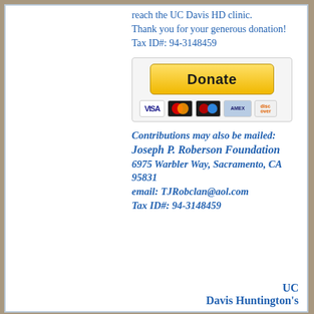reach the UC Davis HD clinic.
Thank you for your generous donation!
Tax ID#: 94-3148459
[Figure (other): PayPal Donate button with VISA, Mastercard, Diners Club, American Express, and Discover card logos below]
Contributions may also be mailed:
Joseph P. Roberson Foundation
6975 Warbler Way, Sacramento, CA 95831
email: TJRobclan@aol.com
Tax ID#: 94-3148459
UC Davis Huntington's